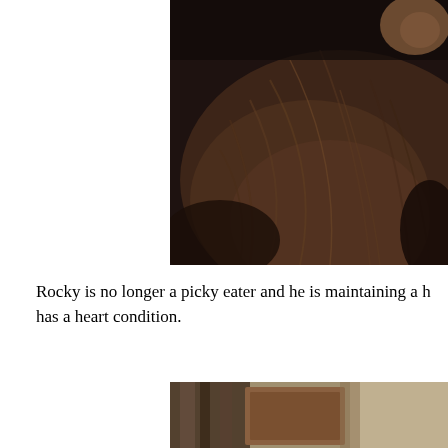[Figure (photo): Close-up photo of a dark brown/black furry animal (likely a dog named Rocky), showing the back/fur area, partially cropped at top]
Rocky is no longer a picky eater and he is maintaining a h... has a heart condition.
[Figure (photo): Partially visible photo at bottom of page, appears to show an interior scene with dark tones]